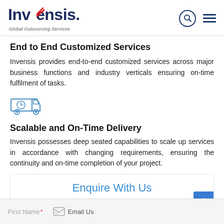Invensis. Global Outsourcing Services
End to End Customized Services
Invensis provides end-to-end customized services across major business functions and industry verticals ensuring on-time fulfilment of tasks.
[Figure (illustration): Line icon of a delivery truck with a clock on it, in blue outline style]
Scalable and On-Time Delivery
Invensis possesses deep seated capabilities to scale up services in accordance with changing requirements, ensuring the continuity and on-time completion of your project.
Enquire With Us
First Name* | Email Us